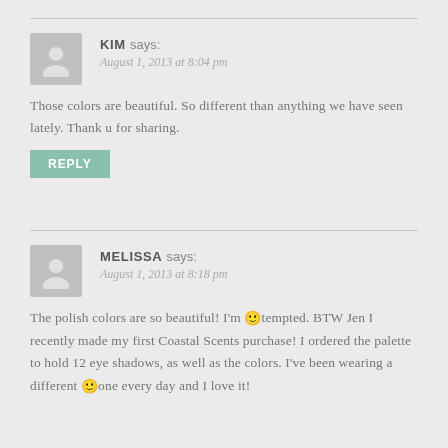KIM says: August 1, 2013 at 8:04 pm
Those colors are beautiful. So different than anything we have seen lately. Thank u for sharing.
REPLY
MELISSA says: August 1, 2013 at 8:18 pm
The polish colors are so beautiful! I'm 🙂 tempted. BTW Jen I recently made my first Coastal Scents purchase! I ordered the palette to hold 12 eye shadows, as well as the colors. I've been wearing a different 🙂 one every day and I love it!